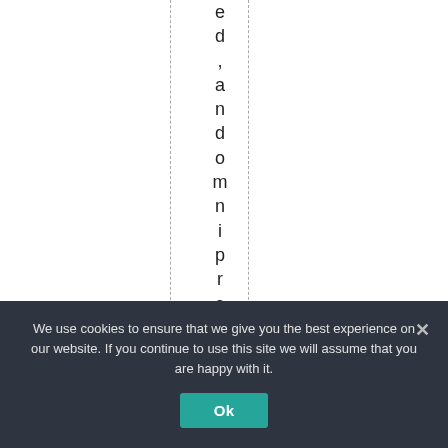ed,andomnipresentt
We use cookies to ensure that we give you the best experience on our website. If you continue to use this site we will assume that you are happy with it.